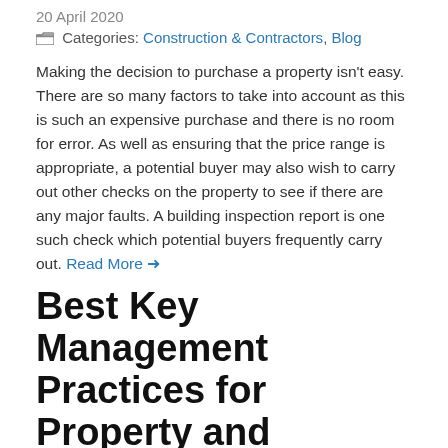20 April 2020
Categories: Construction & Contractors, Blog
Making the decision to purchase a property isn't easy. There are so many factors to take into account as this is such an expensive purchase and there is no room for error. As well as ensuring that the price range is appropriate, a potential buyer may also wish to carry out other checks on the property to see if there are any major faults. A building inspection report is one such check which potential buyers frequently carry out. Read More →
Best Key Management Practices for Property and Business Managers
20 April 2020
Categories: Construction & Contractors, Blog
In today's environment, one needs to have heightened security. It is also critical to have control policies for a property's keys. Key control policies are put in place to ensure people and properties remain safe. Such systems offer control over spaces and assets in an organisation. Many people consider high-tech threats and forget